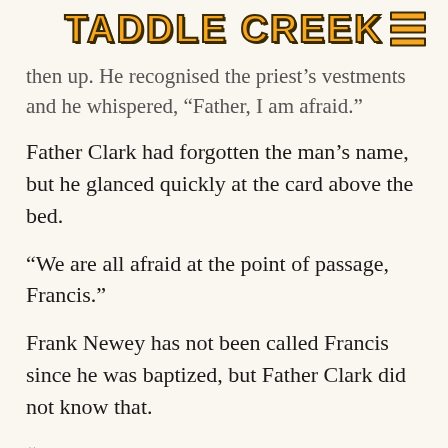TADDLE CREEK
then up. He recognised the priest's vestments and he whispered, “Father, I am afraid.”
Father Clark had forgotten the man’s name, but he glanced quickly at the card above the bed.
“We are all afraid at the point of passage, Francis.”
Frank Newey has not been called Francis since he was baptized, but Father Clark did not know that.
“Would you like me to proceed with the